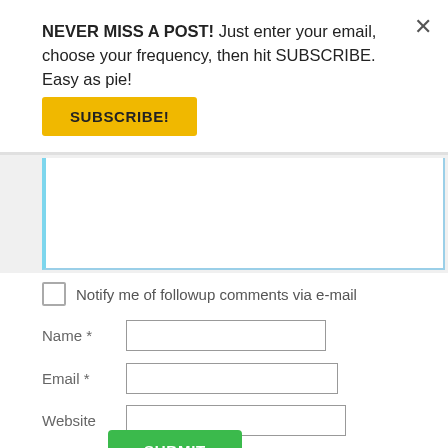NEVER MISS A POST! Just enter your email, choose your frequency, then hit SUBSCRIBE. Easy as pie!
SUBSCRIBE!
[Figure (screenshot): White textarea input box with blue left border, partially visible]
Notify me of followup comments via e-mail
Name *
Email *
Website
SUBMIT